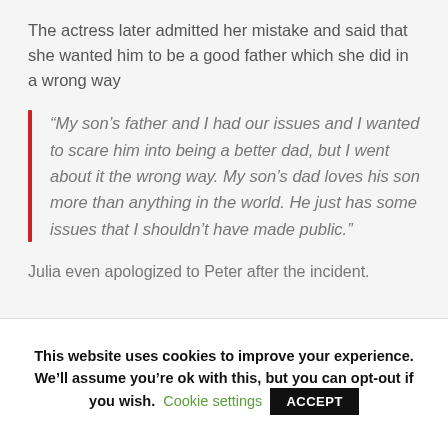The actress later admitted her mistake and said that she wanted him to be a good father which she did in a wrong way
“My son’s father and I had our issues and I wanted to scare him into being a better dad, but I went about it the wrong way. My son’s dad loves his son more than anything in the world. He just has some issues that I shouldn’t have made public.”
Julia even apologized to Peter after the incident.
This website uses cookies to improve your experience. We’ll assume you’re ok with this, but you can opt-out if you wish. Cookie settings ACCEPT